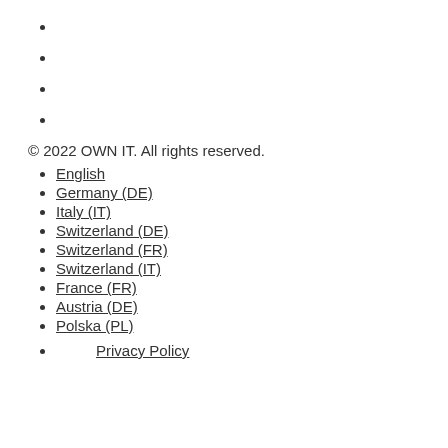© 2022 OWN IT. All rights reserved.
English
Germany (DE)
Italy (IT)
Switzerland (DE)
Switzerland (FR)
Switzerland (IT)
France (FR)
Austria (DE)
Polska (PL)
Privacy Policy